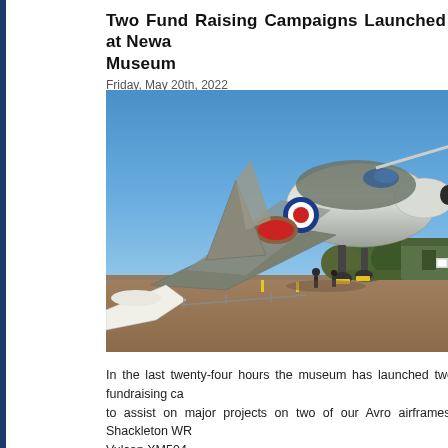Two Fund Raising Campaigns Launched at Newark Air Museum
Friday, May 20th, 2022
[Figure (photo): Outdoor museum photograph showing a large Avro Vulcan bomber aircraft (XM594) on display at the Newark Air Museum. The aircraft is painted in camouflage grey/green with RAF roundel markings visible. A blue sky background. Other smaller aircraft and a green hangar building are visible. Several people visible near the aircraft.]
In the last twenty-four hours the museum has launched two fundraising campaigns to assist on major projects on two of our Avro airframes, Shackleton WR... Vulcan XM594.